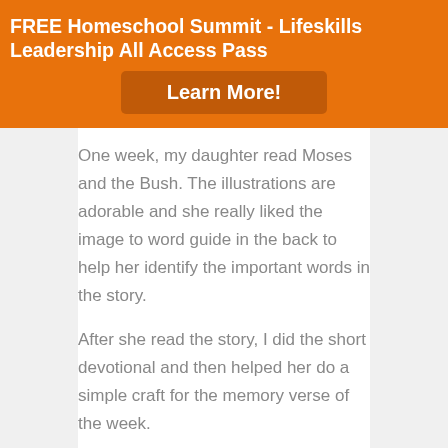FREE Homeschool Summit - Lifeskills Leadership All Access Pass
Learn More!
One week, my daughter read Moses and the Bush. The illustrations are adorable and she really liked the image to word guide in the back to help her identify the important words in the story.
After she read the story, I did the short devotional and then helped her do a simple craft for the memory verse of the week.
For this craft, you can draw a bush outline on a piece of green construction paper, or print of this handy printable that I made onto card stock